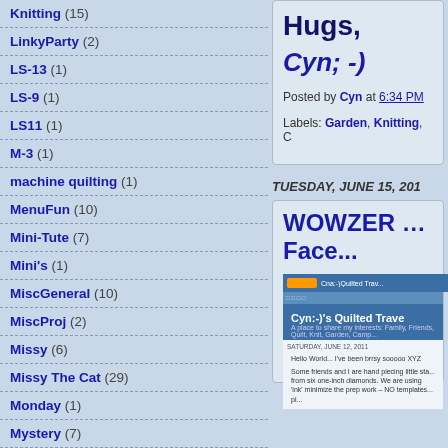Knitting (15)
LinkyParty (2)
LS-13 (1)
LS-9 (1)
LS11 (1)
M-3 (1)
machine quilting (1)
MenuFun (10)
Mini-Tute (7)
Mini's (1)
MiscGeneral (10)
MiscProj (2)
Missy (6)
Missy The Cat (29)
Monday (1)
Mystery (7)
nature (1)
Notions (14)
Hugs,
Cyn; -)
Posted by Cyn at 6:34 PM
Labels: Garden, Knitting, C
TUESDAY, JUNE 15, 201
WOWZER … Face...
[Figure (screenshot): Screenshot of Cyn:-)'s Quilted Travels blog showing blog title, subtitle about Family, Friends, Quilt, Knit, Garden, Camp, and blog post content about hand piecing little stars from six one-inch diamonds.]